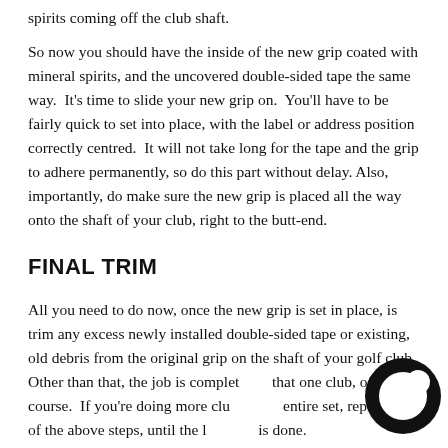spirits coming off the club shaft.
So now you should have the inside of the new grip coated with mineral spirits, and the uncovered double-sided tape the same way.  It's time to slide your new grip on.  You'll have to be fairly quick to set into place, with the label or address position correctly centred.  It will not take long for the tape and the grip to adhere permanently, so do this part without delay. Also, importantly, do make sure the new grip is placed all the way onto the shaft of your club, right to the butt-end.
FINAL TRIM
All you need to do now, once the new grip is set in place, is trim any excess newly installed double-sided tape or existing, old debris from the original grip on the shaft of your golf club.  Other than that, the job is complete for that one club, of course.  If you're doing more clubs or an entire set, repeat all of the above steps, until the last club is done.